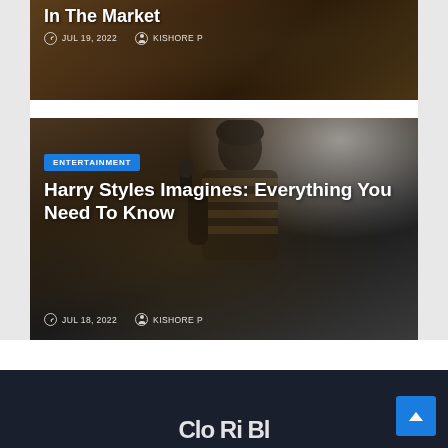[Figure (photo): Dark soil/dirt textured background with partial article card showing title text 'In The Market']
JUL 19, 2022   KISHORE P
[Figure (photo): Photo of Harry Styles singing into a microphone, wearing a striped shirt, blurred background with bright light orb]
ENTERTAINMENT
Harry Styles Imagines: Everything You Need To Know
JUL 18, 2022   KISHORE P
Clo Ri Bl...